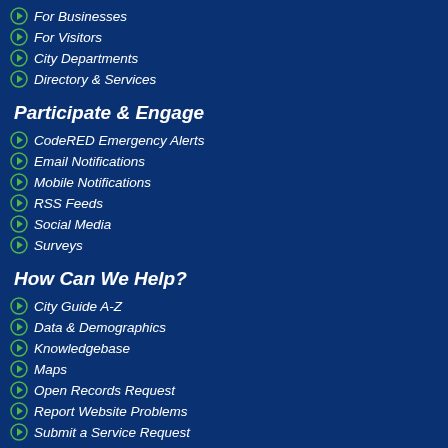For Businesses
For Visitors
City Departments
Directory & Services
Participate & Engage
CodeRED Emergency Alerts
Email Notifications
Mobile Notifications
RSS Feeds
Social Media
Surveys
How Can We Help?
City Guide A-Z
Data & Demographics
Knowledgebase
Maps
Open Records Request
Report Website Problems
Submit a Service Request